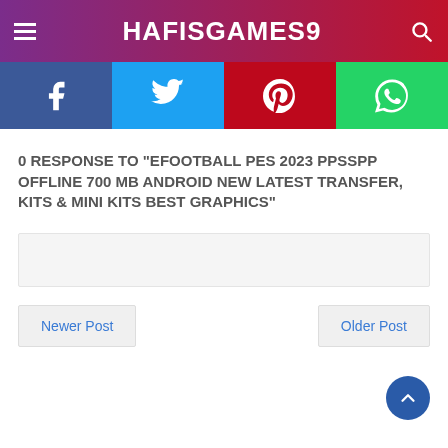HAFISGAMES9
[Figure (infographic): Social sharing buttons: Facebook, Twitter, Pinterest, WhatsApp]
0 RESPONSE TO "EFOOTBALL PES 2023 PPSSPP OFFLINE 700 MB ANDROID NEW LATEST TRANSFER, KITS & MINI KITS BEST GRAPHICS"
Newer Post
Older Post